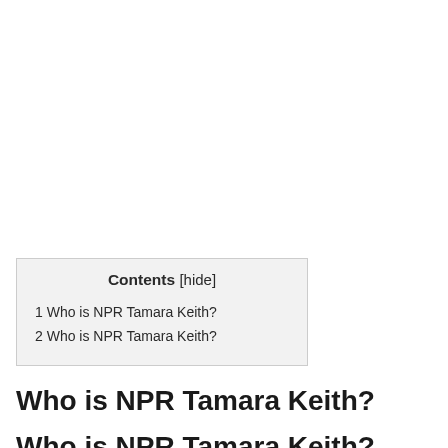| Contents [hide] |
| --- |
| 1 Who is NPR Tamara Keith? |
| 2 Who is NPR Tamara Keith? |
Who is NPR Tamara Keith?
Who is NPR Tamara Keith?